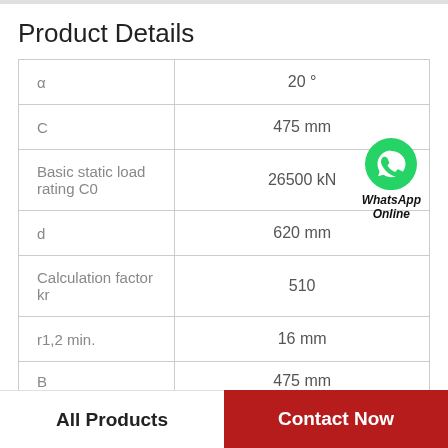Product Details
| Parameter | Value |
| --- | --- |
| α | 20 ° |
| C | 475 mm |
| Basic static load rating C0 | 26500 kN |
| d | 620 mm |
| Calculation factor kr | 510 |
| r1,2 min. | 16 mm |
| B | 475 mm |
All Products   Contact Now